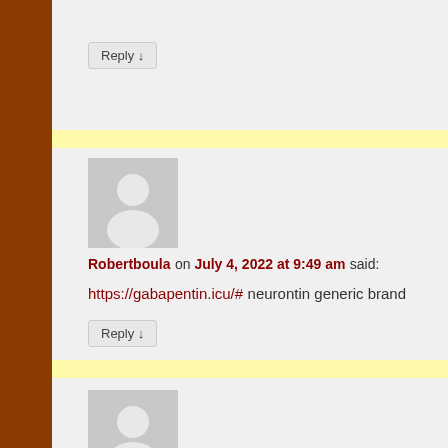Reply ↓
Robertboula on July 4, 2022 at 9:49 am said:
https://gabapentin.icu/# neurontin generic brand
Reply ↓
Jefferygek on July 4, 2022 at 7:00 pm said:
erectile dysfunction drug ed medications list